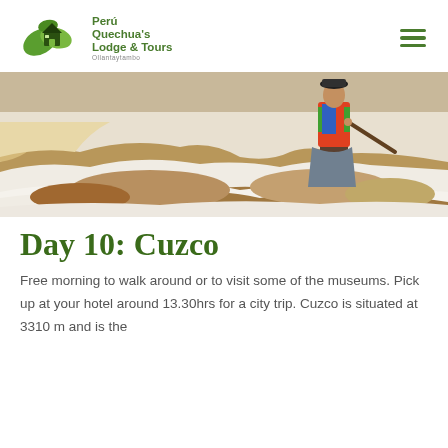[Figure (logo): Perú Quechua's Lodge & Tours logo with green leaves icon and text]
[Figure (photo): Person in traditional colorful clothing working at salt flats/evaporation ponds, scraping white salt from rocky terrain]
Day 10: Cuzco
Free morning to walk around or to visit some of the museums. Pick up at your hotel around 13.30hrs for a city trip. Cuzco is situated at 3310 m and is the